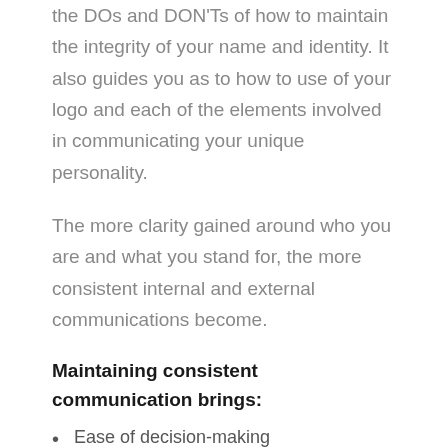the DOs and DON'Ts of how to maintain the integrity of your name and identity. It also guides you as to how to use of your logo and each of the elements involved in communicating your unique personality.
The more clarity gained around who you are and what you stand for, the more consistent internal and external communications become.
Maintaining consistent communication brings:
Ease of decision-making
A common flow among the team
A clear sense of direction
A uniform customer experience